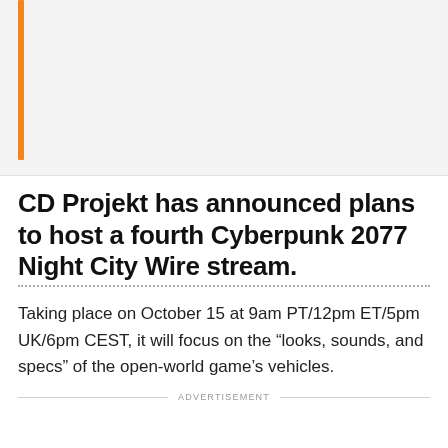CD Projekt has announced plans to host a fourth Cyberpunk 2077 Night City Wire stream.
Taking place on October 15 at 9am PT/12pm ET/5pm UK/6pm CEST, it will focus on the “looks, sounds, and specs” of the open-world game’s vehicles.
It also promises to offer “new gameplay footage, announcements, and more”.